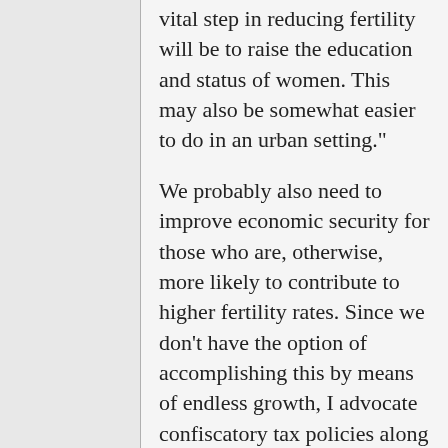vital step in reducing fertility will be to raise the education and status of women. This may also be somewhat easier to do in an urban setting."
We probably also need to improve economic security for those who are, otherwise, more likely to contribute to higher fertility rates. Since we don't have the option of accomplishing this by means of endless growth, I advocate confiscatory tax policies along with wealth and income redistribution. No doubt, the wealthy and powerful will resist.
As for cities,